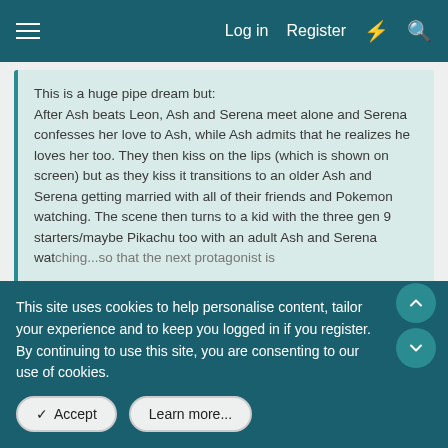Log in  Register
This is a huge pipe dream but:
After Ash beats Leon, Ash and Serena meet alone and Serena confesses her love to Ash, while Ash admits that he realizes he loves her too. They then kiss on the lips (which is shown on screen) but as they kiss it transitions to an older Ash and Serena getting married with all of their friends and Pokemon watching. The scene then turns to a kid with the three gen 9 starters/maybe Pikachu too with an adult Ash and Serena watching...so that the next protagonist is...
Click to expand...
Never gonna happen. Ash is basically the avatar of the series hence why they mostly mold him to match the game male. Plus Pokémon just isn't that kind of series.
Reply
This site uses cookies to help personalise content, tailor your experience and to keep you logged in if you register.
By continuing to use this site, you are consenting to our use of cookies.
Accept
Learn more...